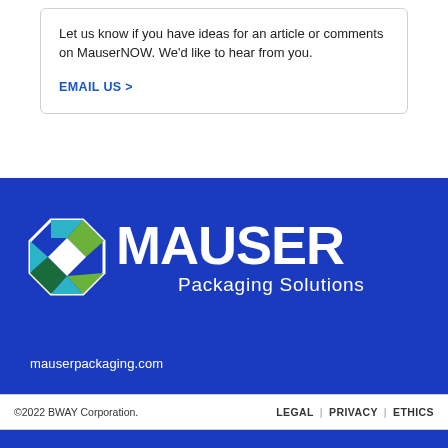Let us know if you have ideas for an article or comments on MauserNOW. We'd like to hear from you.
EMAIL US >
[Figure (logo): Mauser Packaging Solutions logo — octagonal geometric icon with teal, green and white diamond shapes, followed by MAUSER in bold white text and Packaging Solutions below]
mauserpackaging.com
©2022 BWAY Corporation.   LEGAL | PRIVACY | ETHICS